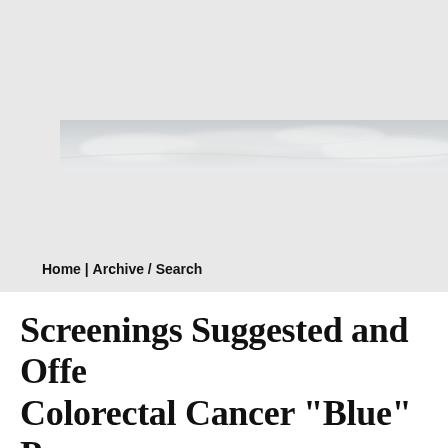[Figure (photo): A wide horizontal banner image showing a light gray and white cloudy or misty landscape scene, appearing as a website header graphic.]
Home | Archive / Search
Screenings Suggested and Offe Colorectal Cancer "Blue" Pro Awareness this Week in Falls